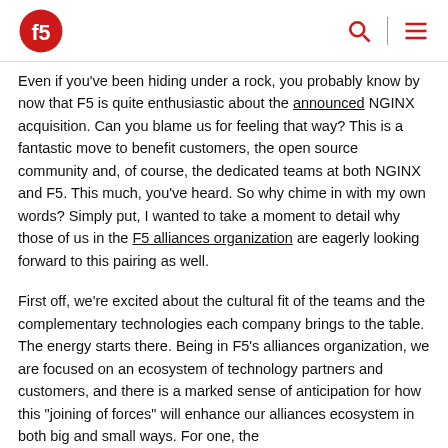F5 logo, search icon, menu icon
Even if you’ve been hiding under a rock, you probably know by now that F5 is quite enthusiastic about the announced NGINX acquisition. Can you blame us for feeling that way? This is a fantastic move to benefit customers, the open source community and, of course, the dedicated teams at both NGINX and F5. This much, you’ve heard. So why chime in with my own words? Simply put, I wanted to take a moment to detail why those of us in the F5 alliances organization are eagerly looking forward to this pairing as well.
First off, we’re excited about the cultural fit of the teams and the complementary technologies each company brings to the table. The energy starts there. Being in F5’s alliances organization, we are focused on an ecosystem of technology partners and customers, and there is a marked sense of anticipation for how this “joining of forces” will enhance our alliances ecosystem in both big and small ways. For one, the